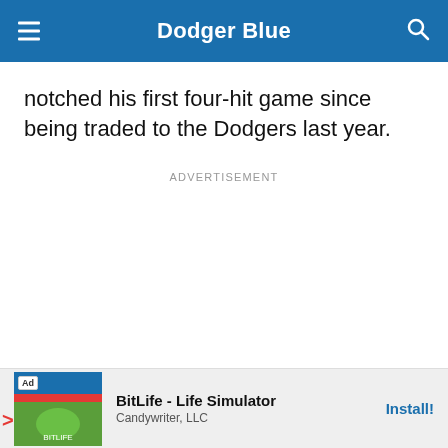Dodger Blue
notched his first four-hit game since being traded to the Dodgers last year.
ADVERTISEMENT
[Figure (other): Advertisement banner for BitLife - Life Simulator by Candywriter, LLC with an Install button]